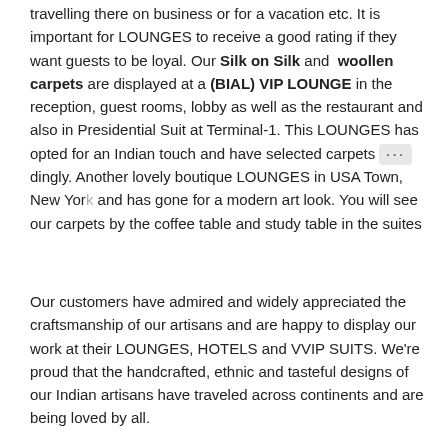travelling there on business or for a vacation etc. It is important for LOUNGES to receive a good rating if they want guests to be loyal. Our Silk on Silk and woollen carpets are displayed at a (BIAL) VIP LOUNGE in the reception, guest rooms, lobby as well as the restaurant and also in Presidential Suit at Terminal-1. This LOUNGES has opted for an Indian touch and have selected carpets accordingly. Another lovely boutique LOUNGES in USA Town, New York and has gone for a modern art look. You will see our carpets by the coffee table and study table in the suites
Our customers have admired and widely appreciated the craftsmanship of our artisans and are happy to display our work at their LOUNGES, HOTELS and VVIP SUITS. We're proud that the handcrafted, ethnic and tasteful designs of our Indian artisans have traveled across continents and are being loved by all.